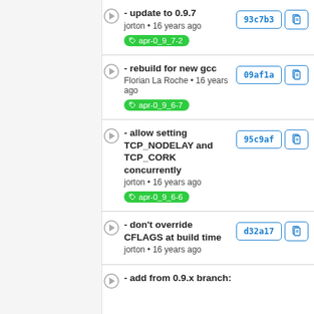- update to 0.9.7
jorton • 16 years ago
apr-0_9_7-2
93c7b3
- rebuild for new gcc
Florian La Roche • 16 years ago
apr-0_9_6-7
09af1a
- allow setting TCP_NODELAY and TCP_CORK concurrently
jorton • 16 years ago
apr-0_9_6-6
95c9af
- don't override CFLAGS at build time
jorton • 16 years ago
d32a17
- add from 0.9.x branch: